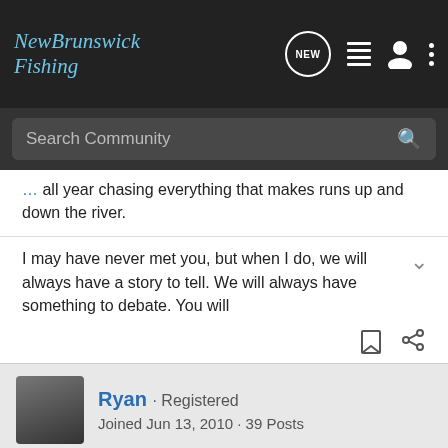NewBrunswick Fishing
Search Community
all year chasing everything that makes runs up and down the river.
I may have never met you, but when I do, we will always have a story to tell. We will always have something to debate. You will
Ryan · Registered
Joined Jun 13, 2010 · 39 Posts
#3 · Jun 29, 2010
PM me and Ill let you know where I caught all of mine.